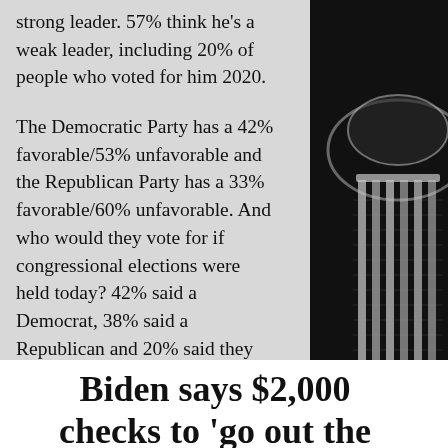strong leader. 57% think he's a weak leader, including 20% of people who voted for him 2020.
The Democratic Party has a 42% favorable/53% unfavorable and the Republican Party has a 33% favorable/60% unfavorable. And who would they vote for if congressional elections were held today? 42% said a Democrat, 38% said a Republican and 20% said they were either unsure, unwilling to vote for either or that they would vote for a 3rd party candidate.
Biden says $2,000 checks to 'go out the
[Figure (photo): Black and white photograph of the United States Capitol building dome and columns, shown from a low angle on the right side of the page.]